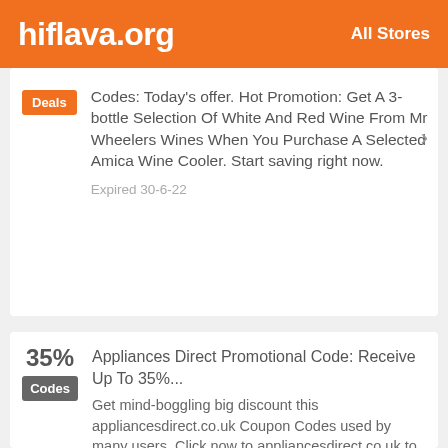hiflava.org | All Stores
Codes: Today's offer. Hot Promotion: Get A 3-bottle Selection Of White And Red Wine From Mr Wheelers Wines When You Purchase A Selected Amica Wine Cooler. Start saving right now. Expired 30-6-22
Appliances Direct Promotional Code: Receive Up To 35%...
35%
Get mind-boggling big discount this appliancesdirect.co.uk Coupon Codes used by many users. Click now to appliancesdirect.co.uk to snag this discounts. Most users will choose the promotion we offer.